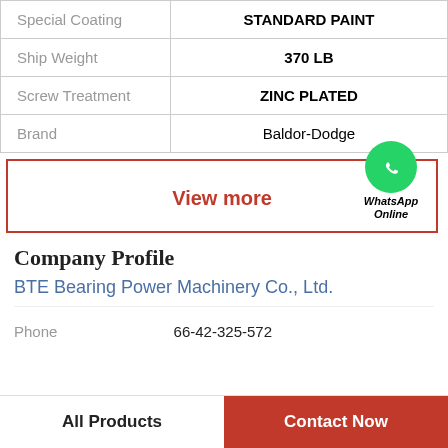|  |  |
| --- | --- |
| Special Coating | STANDARD PAINT |
| Ship Weight | 370 LB |
| Screw Treatment | ZINC PLATED |
| Brand | Baldor-Dodge |
View more
[Figure (logo): WhatsApp green circle icon with phone handset, labeled WhatsApp Online]
Company Profile
BTE Bearing Power Machinery Co., Ltd.
Phone  66-42-325-572
All Products
Contact Now